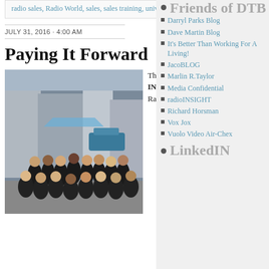radio sales, Radio World, sales, sales training, university
JULY 31, 2016 · 4:00 AM
Paying It Forward
[Figure (photo): Group photo of approximately 23 students in black shirts standing outdoors in an urban setting]
The picture on the left is of the 2016 KBA WKU RADIO TALENT INSTITUTE class. These twenty-three outstanding students all earned their Radio Marketing Professional
Friends of DTB
Darryl Parks Blog
Dave Martin Blog
It's Better Than Working For A Living!
JacoBLOG
Marlin R.Taylor
Media Confidential
radioINSIGHT
Richard Horsman
Vox Jox
Vuolo Video Air-Chex
LinkedIN